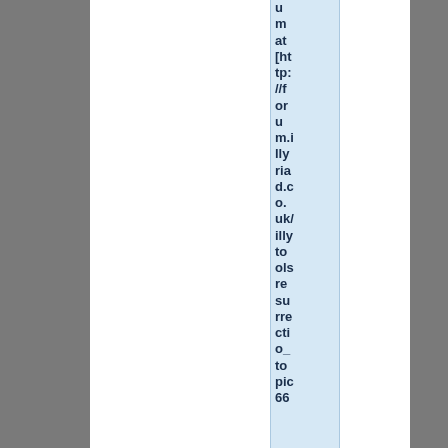u m at [http://forum.illyria d.co.uk/illyto ols re su rre cti o_ to pic 66